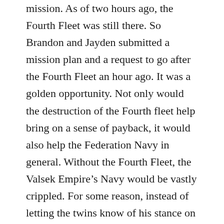mission. As of two hours ago, the Fourth Fleet was still there. So Brandon and Jayden submitted a mission plan and a request to go after the Fourth Fleet an hour ago. It was a golden opportunity. Not only would the destruction of the Fourth fleet help bring on a sense of payback, it would also help the Federation Navy in general. Without the Fourth Fleet, the Valsek Empire’s Navy would be vastly crippled. For some reason, instead of letting the twins know of his stance on the mission over the Navy TransCOMNET, the Chief Admiral had requested the twins meet him in person. So now, here they are sitting in his office.
“Well, I’ve read through the mission plan and all. The amount of resources devoted to this operation is tremendous even by our standard. And what if the